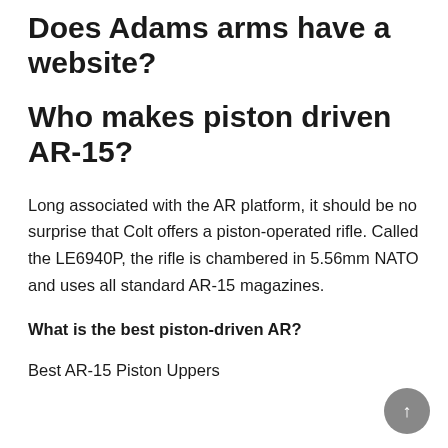Does Adams arms have a website?
Who makes piston driven AR-15?
Long associated with the AR platform, it should be no surprise that Colt offers a piston-operated rifle. Called the LE6940P, the rifle is chambered in 5.56mm NATO and uses all standard AR-15 magazines.
What is the best piston-driven AR?
Best AR-15 Piston Uppers